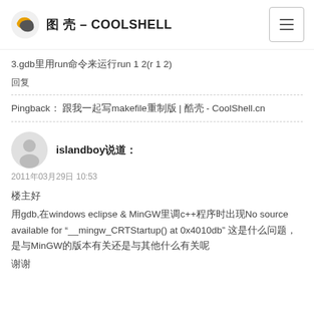酷 壳 – COOLSHELL
3.gdb里用run命令来运行run 1 2(r 1 2)
回复
Pingback： 跟我一起写makefile重制版 | 酷壳 - CoolShell.cn
islandboy说道：
2011年03月29日 10:53
楼主好
用gdb,在windows eclipse & MinGW里调c++程序时出现No source available for "__mingw_CRTStartup() at 0x4010db" 这是什么问题，是与MinGW的版本有关还是与其他什么有关呢
谢谢